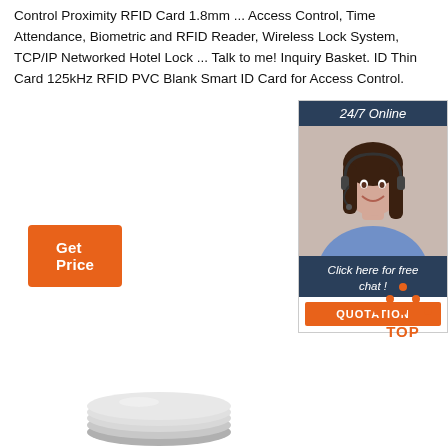Control Proximity RFID Card 1.8mm ... Access Control, Time Attendance, Biometric and RFID Reader, Wireless Lock System, TCP/IP Networked Hotel Lock ... Talk to me! Inquiry Basket. ID Thin Card 125kHz RFID PVC Blank Smart ID Card for Access Control.
[Figure (other): Orange 'Get Price' button]
[Figure (other): Chat widget with '24/7 Online' header, photo of customer service representative with headset, 'Click here for free chat!' text, and orange QUOTATION button]
[Figure (other): Orange dotted triangle 'TOP' back-to-top button]
[Figure (other): Partial product image - grey circular disc/card at bottom of page]